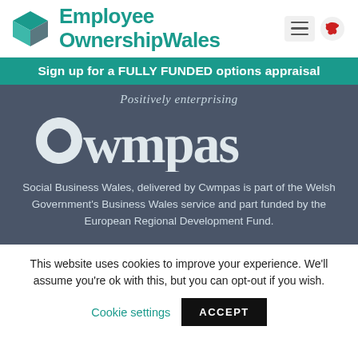[Figure (logo): Employee Ownership Wales logo with teal cube icon and teal text]
Sign up for a FULLY FUNDED options appraisal
[Figure (logo): Cwmpas logo on dark slate background with tagline 'Positively enterprising']
Social Business Wales, delivered by Cwmpas is part of the Welsh Government's Business Wales service and part funded by the European Regional Development Fund.
This website uses cookies to improve your experience. We'll assume you're ok with this, but you can opt-out if you wish.
Cookie settings
ACCEPT